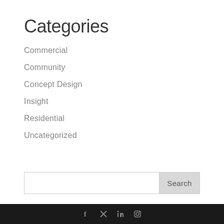Categories
Commercial
Community
Concept Design
Insight
Residential
Uncategorized
Social media icons (Facebook, Twitter/X, LinkedIn, Instagram)